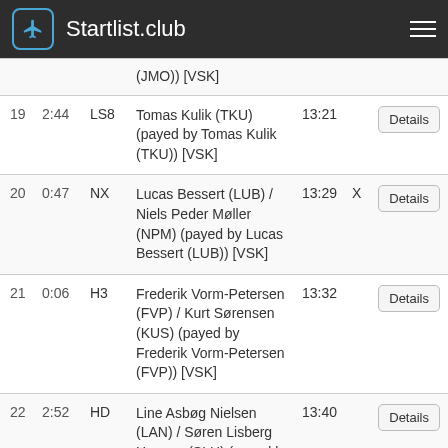Startlist.club
| # | Time | Glider | Pilot | Start |  |  |
| --- | --- | --- | --- | --- | --- | --- |
|  |  |  | (JMO)) [VSK] |  |  |  |
| 19 | 2:44 | LS8 | Tomas Kulik (TKU) (payed by Tomas Kulik (TKU)) [VSK] | 13:21 |  | Details |
| 20 | 0:47 | NX | Lucas Bessert (LUB) / Niels Peder Møller (NPM) (payed by Lucas Bessert (LUB)) [VSK] | 13:29 | X | Details |
| 21 | 0:06 | H3 | Frederik Vorm-Petersen (FVP) / Kurt Sørensen (KUS) (payed by Frederik Vorm-Petersen (FVP)) [VSK] | 13:32 |  | Details |
| 22 | 2:52 | HD | Line Asbøg Nielsen (LAN) / Søren Lisberg Hansen (SLH) (payed by Line Asbøg Nielsen... | 13:40 |  | Details |